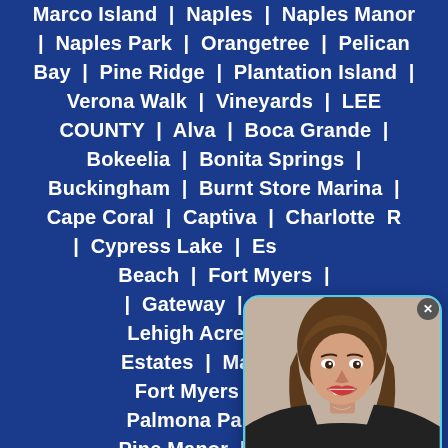Marco Island | Naples | Naples Manor | Naples Park | Orangetree | Pelican Bay | Pine Ridge | Plantation Island | Verona Walk | Vineyards | LEE COUNTY | Alva | Boca Grande | Bokeelia | Bonita Springs | Buckingham | Burnt Store Marina | Cape Coral | Captiva | Cypress Lake | Beach | Fort Myers | Gateway | Harlem | Lehigh Acres | Estates | Matlacha | Fort Myers | Olga | Palmona Park | Pine Manor | Pineland | San Carlos Park | City | Suncoast Estates | Tice | Villas | CHARLOTTE COUNTY | Cleveland | Harbour Heights | Charlotte | Punta Gorda | Solano | SARASOTA COUNTY | Ridge | Desoto Lakes | Engelwood
[Figure (photo): Chat widget popup showing a smiling woman with long brown hair wearing a black top, with a 'Need Help? Click Me!' call-to-action label at the bottom, surrounded by a cyan/teal border on white background]